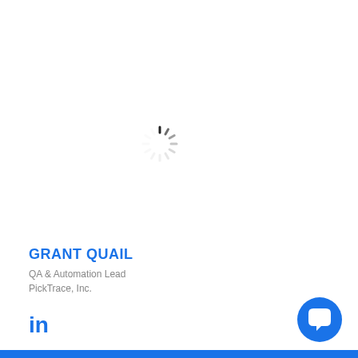[Figure (other): Loading spinner (circular dashed loading indicator) centered on page]
GRANT QUAIL
QA & Automation Lead
PickTrace, Inc.
[Figure (logo): LinkedIn 'in' logo icon in blue]
[Figure (other): Blue circular chat/messaging button with speech bubble icon in bottom right corner]
Blue bar footer